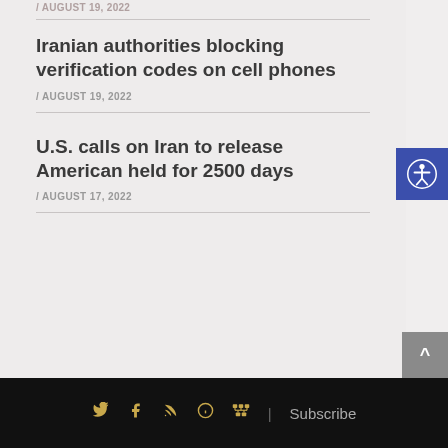/ AUGUST 19, 2022
Iranian authorities blocking verification codes on cell phones
/ AUGUST 19, 2022
U.S. calls on Iran to release American held for 2500 days
/ AUGUST 17, 2022
Social icons: Twitter, Facebook, RSS, Info, Sitemap | Subscribe